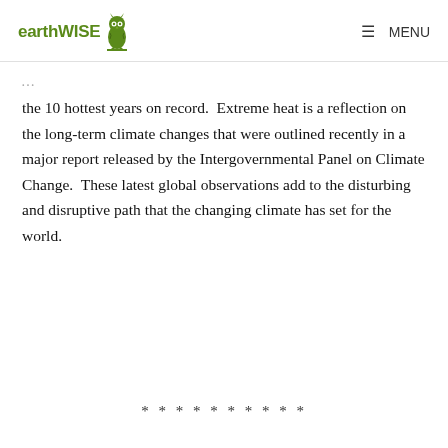earthWISE | MENU
the 10 hottest years on record.  Extreme heat is a reflection on the long-term climate changes that were outlined recently in a major report released by the Intergovernmental Panel on Climate Change.  These latest global observations add to the disturbing and disruptive path that the changing climate has set for the world.
* * * * * * * * * *